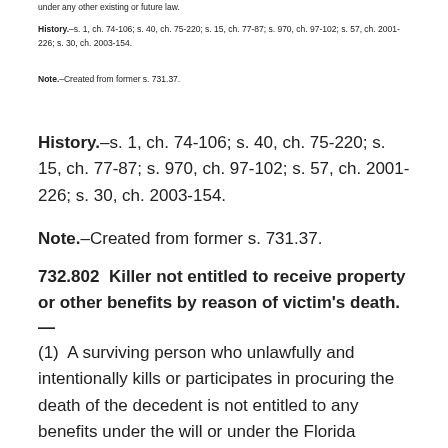under any other existing or future law.
History.–s. 1, ch. 74-106; s. 40, ch. 75-220; s. 15, ch. 77-87; s. 970, ch. 97-102; s. 57, ch. 2001-226; s. 30, ch. 2003-154.
Note.–Created from former s. 731.37.
History.–s. 1, ch. 74-106; s. 40, ch. 75-220; s. 15, ch. 77-87; s. 970, ch. 97-102; s. 57, ch. 2001-226; s. 30, ch. 2003-154.
Note.–Created from former s. 731.37.
732.802  Killer not entitled to receive property or other benefits by reason of victim's death.—
(1)  A surviving person who unlawfully and intentionally kills or participates in procuring the death of the decedent is not entitled to any benefits under the will or under the Florida Probate Code, and the estate of the decedent passes as if the killer had predeceased the decedent.